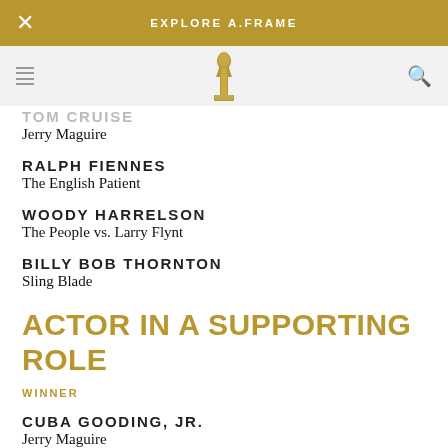EXPLORE A.FRAME
TOM CRUISE
Jerry Maguire
RALPH FIENNES
The English Patient
WOODY HARRELSON
The People vs. Larry Flynt
BILLY BOB THORNTON
Sling Blade
ACTOR IN A SUPPORTING ROLE
WINNER
CUBA GOODING, JR.
Jerry Maguire